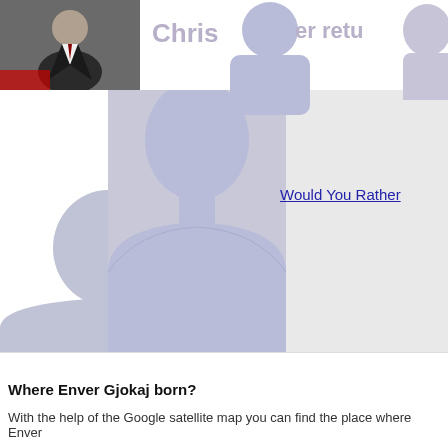[Figure (screenshot): Web page screenshot showing silhouette profile images, two movie/show links 'Would You Rather' and 'Lust for Love', a partial header with 'Chris' and 'er retu', and bottom section with question 'Where Enver Gjokaj born?' and descriptive text.]
Would You Rather
Lust for Love
Where Enver Gjokaj born?
With the help of the Google satellite map you can find the place where Enver